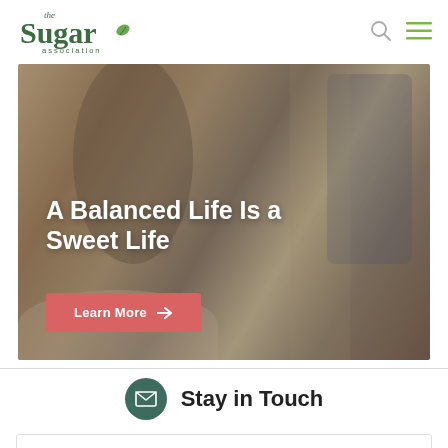[Figure (logo): The Sugar Association logo with green text and leaf icon]
[Figure (photo): Hero banner photo of a person at a table with food/baked goods, with overlay text 'A Balanced Life Is a Sweet Life' and a Learn More button]
A Balanced Life Is a Sweet Life
Learn More →
Stay in Touch